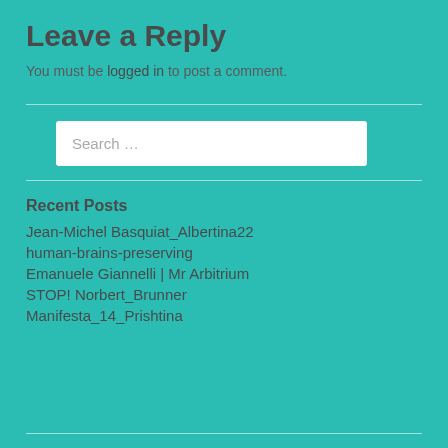Leave a Reply
You must be logged in to post a comment.
Search …
Recent Posts
Jean-Michel Basquiat_Albertina22
human-brains-preserving
Emanuele Giannelli | Mr Arbitrium
STOP! Norbert_Brunner
Manifesta_14_Prishtina